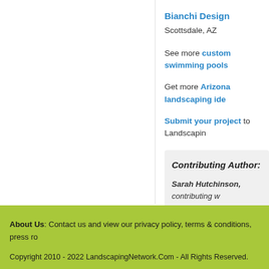Bianchi Design
Scottsdale, AZ
See more custom swimming pools
Get more Arizona landscaping ideas
Submit your project to Landscapin
Contributing Author:
Sarah Hutchinson, contributing w
About Us: Contact us and view our privacy policy, terms & conditions, press ro
Copyright 2010 - 2022 LandscapingNetwork.Com - All Rights Reserved.